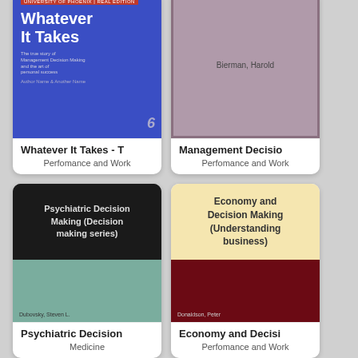[Figure (illustration): Book cover grid showing 4 book covers: 'Whatever It Takes' (blue cover), 'Management Decision' (mauve/pink cover by Bierman Harold), 'Psychiatric Decision Making (Decision making series)' by Dubovsky Steven L. (black and teal cover), 'Economy and Decision Making (Understanding business)' by Donaldson Peter (cream and dark red cover)]
Whatever It Takes - T
Perfomance and Work
Management Decisio
Perfomance and Work
Psychiatric Decision
Medicine
Economy and Decisi
Perfomance and Work